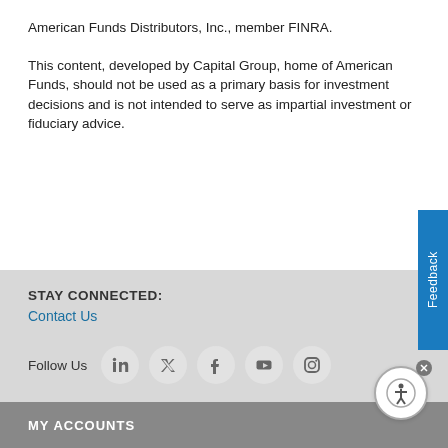American Funds Distributors, Inc., member FINRA.
This content, developed by Capital Group, home of American Funds, should not be used as a primary basis for investment decisions and is not intended to serve as impartial investment or fiduciary advice.
Feedback
STAY CONNECTED:
Contact Us
Follow Us
MY ACCOUNTS